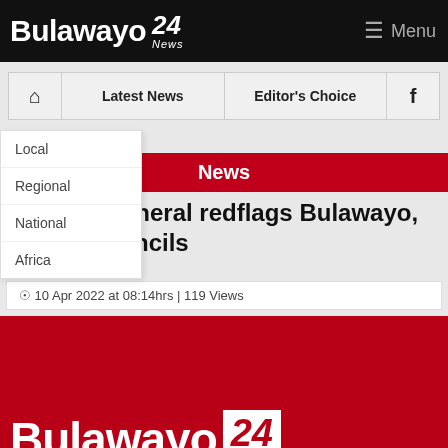Bulawayo 24 News — Menu
| Home | Latest News | Editor's Choice | Facebook |
| --- | --- | --- | --- |
News / Local
News
Auditor-General redflags Bulawayo, Gweru councils
by Staff reporter
10 Apr 2022 at 08:14hrs | 119 Views
[Figure (logo): Bulawayo24 News logo on red background]